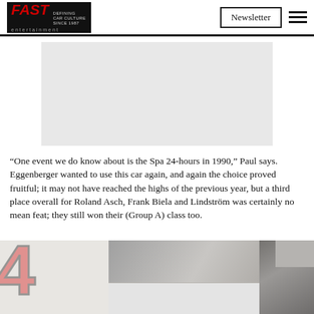FAST entertainment — Defining Car Culture Since 1987 | Newsletter
[Figure (other): Grey advertisement placeholder banner]
“One event we do know about is the Spa 24-hours in 1990,” Paul says. Eggenberger wanted to use this car again, and again the choice proved fruitful; it may not have reached the highs of the previous year, but a third place overall for Roland Asch, Frank Biela and Lindström was certainly no mean feat; they still won their (Group A) class too.
[Figure (photo): Photo of a race car showing a large red number on white bodywork, with a blurred background and a grey advertisement overlay at the bottom]